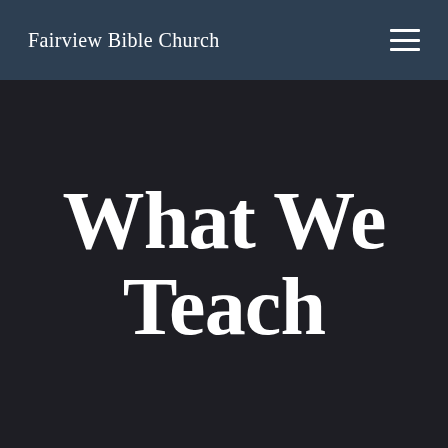Fairview Bible Church
What We Teach